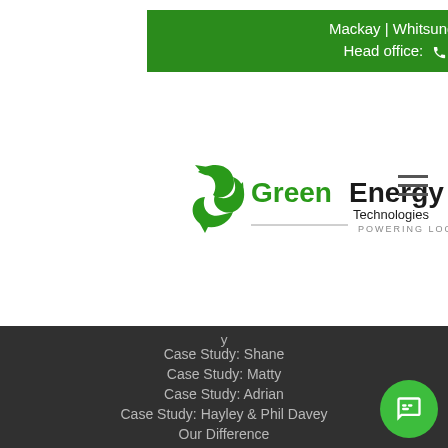Mackay | Whitsundays | Townsville
Head office: 07 4940 2900
[Figure (logo): Green Energy Technologies logo — green leaf/recycling icon with text 'GreenEnergy Technologies POWERING LOCALS']
Case Study: Shane
Case Study: Matty
Case Study: Adrian
Case Study: Hayley & Phil Davey
Our Difference
GET360
Learn
Testimonials
Contact Us
Get a Quote
Do Nothing
Should I Buy a Solar Battery?